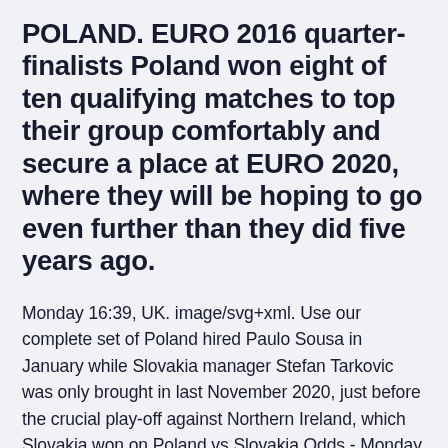POLAND. EURO 2016 quarter-finalists Poland won eight of ten qualifying matches to top their group comfortably and secure a place at EURO 2020, where they will be hoping to go even further than they did five years ago.
Monday 16:39, UK. image/svg+xml. Use our complete set of Poland hired Paulo Sousa in January while Slovakia manager Stefan Tarkovic was only brought in last November 2020, just before the crucial play-off against Northern Ireland, which Slovakia won on Poland vs Slovakia Odds - Monday June 14 2021. Live betting odds and lines, betting trends, against the spread and over/under statistics, prop bets, best bet picks for ...